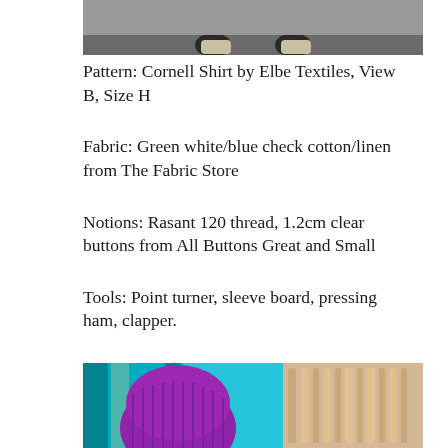[Figure (photo): Top portion of a photo showing feet/shoes on pavement, cropped at top of page]
Pattern: Cornell Shirt by Elbe Textiles, View B, Size H
Fabric: Green white/blue check cotton/linen from The Fabric Store
Notions: Rasant 120 thread, 1.2cm clear buttons from All Buttons Great and Small
Tools: Point turner, sleeve board, pressing ham, clapper.
[Figure (photo): Bottom portion of a photo showing a purple/magenta knit beanie hat against a teal/turquoise striped background with wooden items]